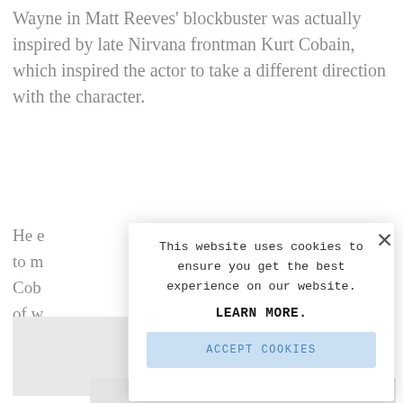Wayne in Matt Reeves' blockbuster was actually inspired by late Nirvana frontman Kurt Cobain, which inspired the actor to take a different direction with the character.
He e... [partially obscured text about Matt, to m... Cob... of w...]
[Figure (screenshot): Cookie consent modal dialog overlaying article text. Modal contains close X button, text 'This website uses cookies to ensure you get the best experience on our website.', bold text 'LEARN MORE.', and a light blue button 'ACCEPT COOKIES'.]